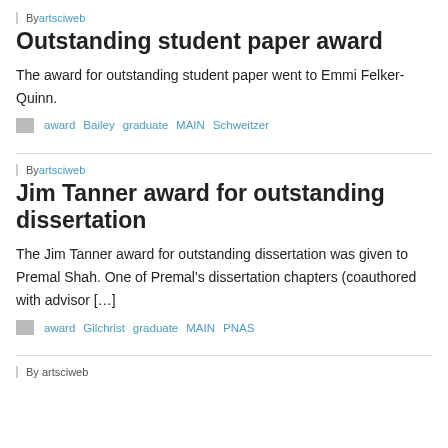By artsciweb
Outstanding student paper award
The award for outstanding student paper went to Emmi Felker-Quinn.
award  Bailey  graduate  MAIN  Schweitzer
By artsciweb
Jim Tanner award for outstanding dissertation
The Jim Tanner award for outstanding dissertation was given to Premal Shah. One of Premal's dissertation chapters (coauthored with advisor […]
award  Gilchrist  graduate  MAIN  PNAS
By artsciweb